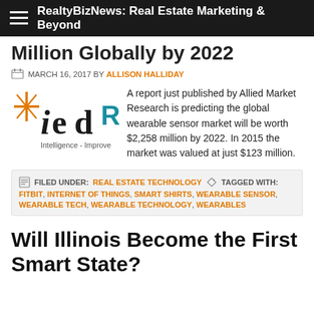RealtyBizNews: Real Estate Marketing & Beyond
Million Globally by 2022
MARCH 16, 2017 BY ALLISON HALLIDAY
[Figure (logo): ied Intelligence-Improve logo with teal/black lettering and orange star]
A report just published by Allied Market Research is predicting the global wearable sensor market will be worth $2,258 million by 2022. In 2015 the market was valued at just $123 million.
FILED UNDER: REAL ESTATE TECHNOLOGY  TAGGED WITH: FITBIT, INTERNET OF THINGS, SMART SHIRTS, WEARABLE SENSOR, WEARABLE TECH, WEARABLE TECHNOLOGY, WEARABLES
Will Illinois Become the First Smart State?